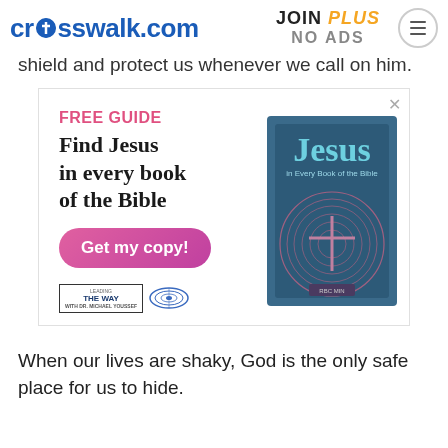crosswalk.com | JOIN PLUS NO ADS
shield and protect us whenever we call on him.
[Figure (screenshot): Advertisement for a free guide titled 'Find Jesus in every book of the Bible' with a 'Get my copy!' button and a book cover image, from Leading The Way.]
When our lives are shaky, God is the only safe place for us to hide.